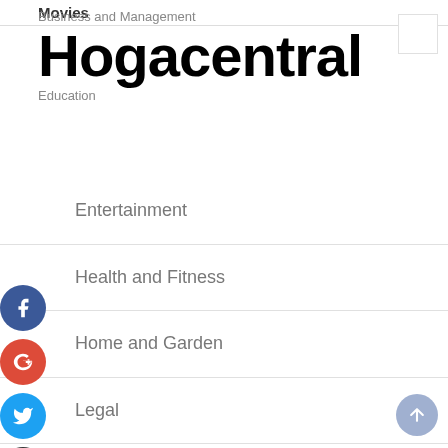Business and Management
Hogacentral
Education
Movies
Entertainment
Health and Fitness
Home and Garden
Legal
Main
Marketing and Advertising
Pets